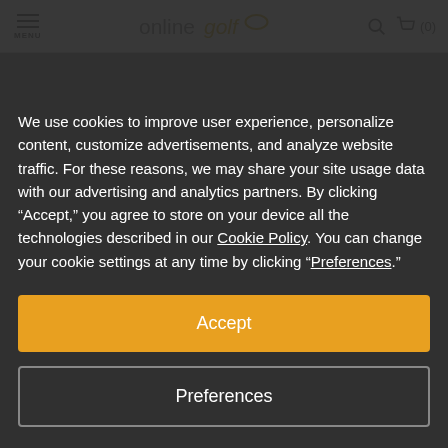[Figure (screenshot): OnlineGolf website navigation bar with hamburger menu, logo, search icon and cart icon (0 items)]
We use cookies to improve user experience, personalize content, customize advertisements, and analyze website traffic. For these reasons, we may share your site usage data with our advertising and analytics partners. By clicking “Accept,” you agree to store on your device all the technologies described in our Cookie Policy. You can change your cookie settings at any time by clicking “Preferences.”
Accept
Preferences